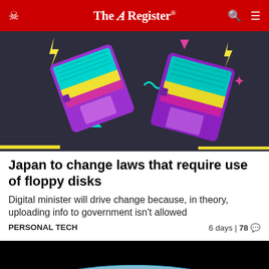The Register
[Figure (illustration): Colorful retro floppy disk illustration on dark background with 80s-style graphic elements like lightning bolts, squiggles, triangles, and stars in cyan, yellow, pink, and purple on a dark navy/charcoal background]
Japan to change laws that require use of floppy disks
Digital minister will drive change because, in theory, uploading info to government isn't allowed
PERSONAL TECH  6 days | 78
[Figure (photo): Photograph of a satellite or space object above Earth's curved horizon in space, with Earth's blue atmosphere and clouds visible below against black space]